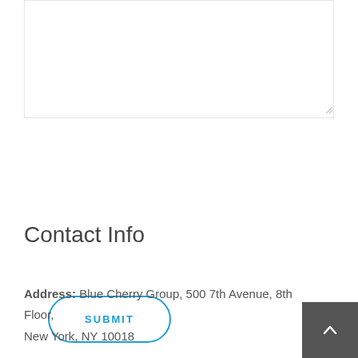[Figure (screenshot): Empty textarea form field with light grey border]
[Figure (screenshot): Submit button with blue rounded border outline, uppercase text SUBMIT in blue]
Contact Info
Address: Blue Cherry Group, 500 7th Avenue, 8th Floor, New York, NY 10018